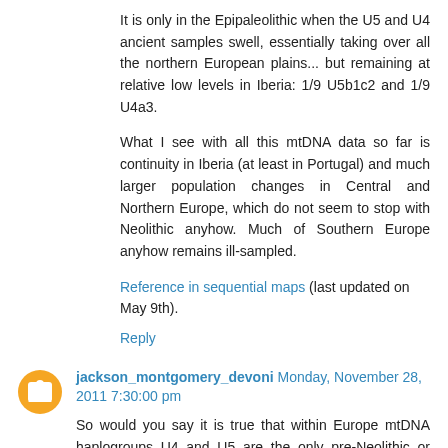It is only in the Epipaleolithic when the U5 and U4 ancient samples swell, essentially taking over all the northern European plains... but remaining at relative low levels in Iberia: 1/9 U5b1c2 and 1/9 U4a3.
What I see with all this mtDNA data so far is continuity in Iberia (at least in Portugal) and much larger population changes in Central and Northern Europe, which do not seem to stop with Neolithic anyhow. Much of Southern Europe anyhow remains ill-sampled.
Reference in sequential maps (last updated on May 9th).
Reply
jackson_montgomery_devoni Monday, November 28, 2011 7:30:00 pm
So would you say it is true that within Europe mtDNA haplogroups U4 and U5 are the only pre-Neolithic or Mesolithic origin haplogroups found among modern Europeans?